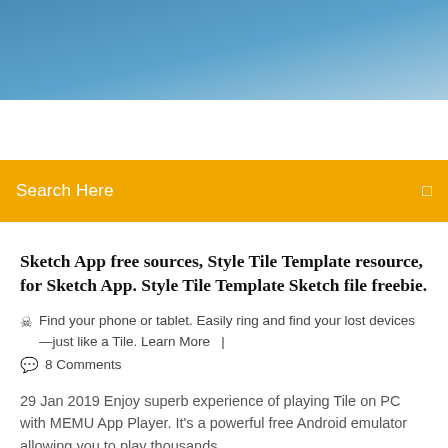[Figure (photo): Blue sky/header image banner at top of webpage]
Search Here
Sketch App free sources, Style Tile Template resource, for Sketch App. Style Tile Template Sketch file freebie.
Find your phone or tablet. Easily ring and find your lost devices—just like a Tile. Learn More  |
8 Comments
29 Jan 2019 Enjoy superb experience of playing Tile on PC with MEMU App Player. It's a powerful free Android emulator allowing you to play thousands...